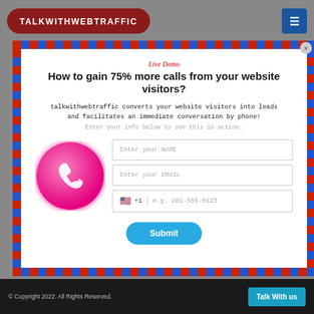[Figure (logo): TalkWithWebTraffic logo in white text on dark red pill-shaped background]
[Figure (screenshot): Blue hamburger menu button in top right corner]
Live Demo
How to gain 75% more calls from your website visitors?
talkwithwebtraffic converts your website visitors into leads and facilitates an immediate conversation by phone!
Enter your info below to see this in action.
[Figure (illustration): Pink circle with white phone handset icon]
Enter your NAME
Enter your EMAIL
e.g. 201-555-0123
Submit
© Copyright 2022. All Rights Reserved.
Talk With us